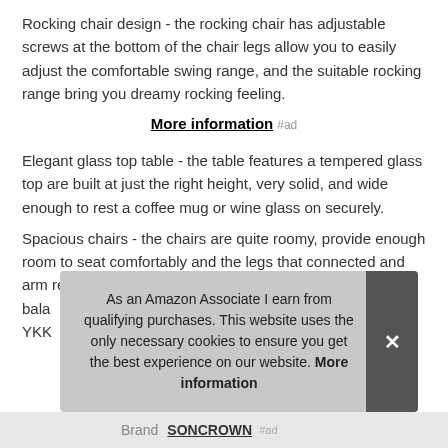Rocking chair design - the rocking chair has adjustable screws at the bottom of the chair legs allow you to easily adjust the comfortable swing range, and the suitable rocking range bring you dreamy rocking feeling.
More information #ad
Elegant glass top table - the table features a tempered glass top are built at just the right height, very solid, and wide enough to rest a coffee mug or wine glass on securely.
Spacious chairs - the chairs are quite roomy, provide enough room to seat comfortably and the legs that connected and arm resets are designed to provide additional support and bala... YKK...
As an Amazon Associate I earn from qualifying purchases. This website uses the only necessary cookies to ensure you get the best experience on our website. More information
| Brand | Value | Ad |
| --- | --- | --- |
| Brand | SONCROWN | #ad |